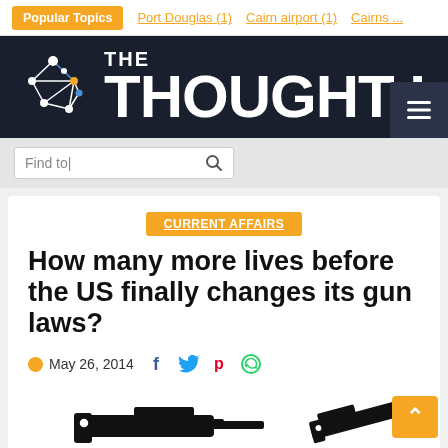Popular Topics  Port Douglas (1)  Cairn airport (1)  Cairns ...
[Figure (logo): The Thought Hub logo with network graph icon and site name]
Find to|
CURRENT AFFAIRS
How many more lives before the US finally changes its gun laws?
May 26, 2014
[Figure (photo): Black and white image of guns/firearms at the bottom of the article]